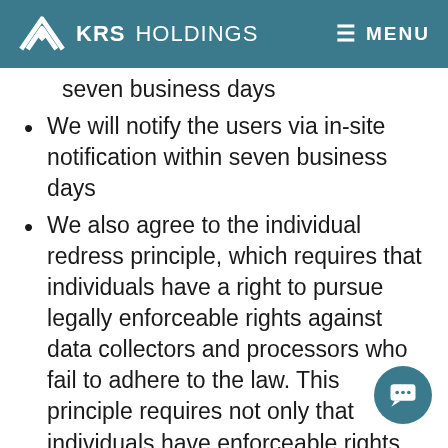KRS HOLDINGS   MENU
seven business days
We will notify the users via in-site notification within seven business days
We also agree to the individual redress principle, which requires that individuals have a right to pursue legally enforceable rights against data collectors and processors who fail to adhere to the law. This principle requires not only that individuals have enforceable rights against data users, but also that individuals have recourse to courts or government agency to investigate and